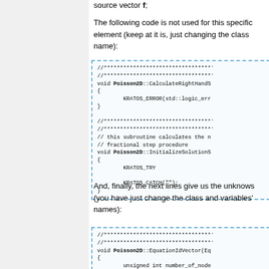source vector f;
The following code is not used for this specific element (keep at it is, just changing the class name):
[Figure (screenshot): Code block showing C++ implementation with void Poisson2D::CalculateRightHandS, KRATOS_ERROR(std::logic_err, and void Poisson2D::InitializeSolutionS with KRATOS_TRY and KRATOS_CATCH("") sections]
And, finally, the next lines give us the unknows (you have just change the class and variables' names):
[Figure (screenshot): Code block showing void Poisson2D::EquationIdVector(Eq with unsigned int number_of_nodes]